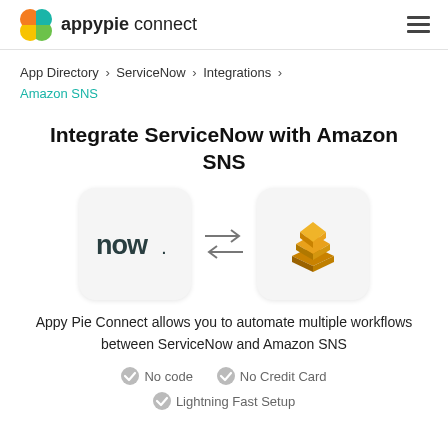appypie connect
App Directory > ServiceNow > Integrations > Amazon SNS
Integrate ServiceNow with Amazon SNS
[Figure (illustration): ServiceNow logo (now.) in a rounded square box, two-way arrows in the middle, Amazon SNS logo (gold stacked layers icon) in a rounded square box]
Appy Pie Connect allows you to automate multiple workflows between ServiceNow and Amazon SNS
No code
No Credit Card
Lightning Fast Setup